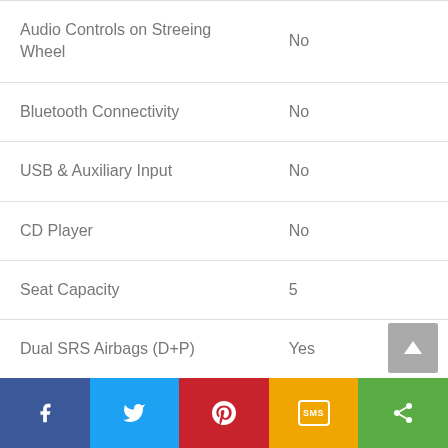| Feature | Value |
| --- | --- |
| Audio Controls on Streeing Wheel | No |
| Bluetooth Connectivity | No |
| USB & Auxiliary Input | No |
| CD Player | No |
| Seat Capacity | 5 |
| Dual SRS Airbags (D+P) | Yes |
| Passenger Airbags | No |